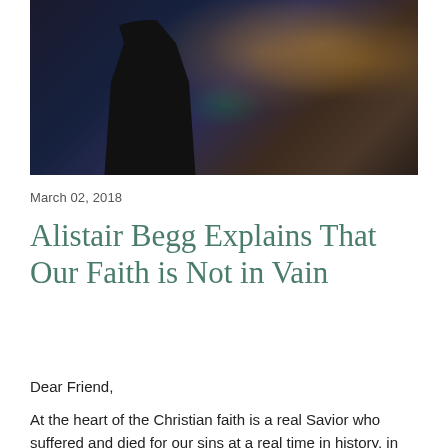[Figure (photo): A man in a dark suit standing at a podium in a dimly lit venue with warm amber/orange lighting and a green exit sign visible in the background.]
March 02, 2018
Alistair Begg Explains That Our Faith is Not in Vain
Dear Friend,
At the heart of the Christian faith is a real Savior who suffered and died for our sins at a real time in history, in a real place, so that we